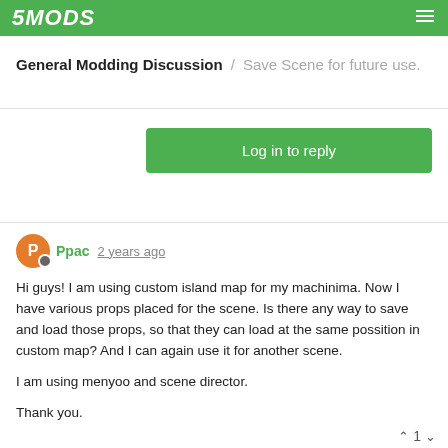5MODS
General Modding Discussion / Save Scene for future use.
Log in to reply
Ppac 2 years ago
Hi guys! I am using custom island map for my machinima. Now I have various props placed for the scene. Is there any way to save and load those props, so that they can load at the same possition in custom map? And I can again use it for another scene.

I am using menyoo and scene director.

Thank you.